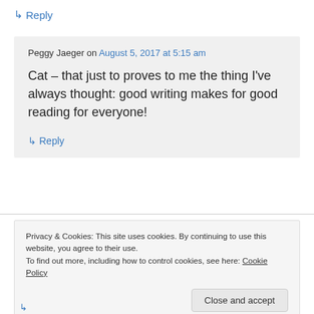↳ Reply
Peggy Jaeger on August 5, 2017 at 5:15 am
Cat – that just to proves to me the thing I've always thought: good writing makes for good reading for everyone!
↳ Reply
Privacy & Cookies: This site uses cookies. By continuing to use this website, you agree to their use. To find out more, including how to control cookies, see here: Cookie Policy
Close and accept